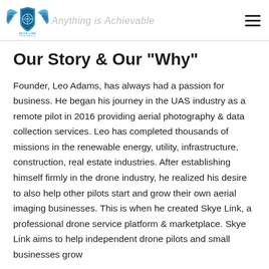SKYE LINK — Anything is Achievable
Our Story & Our "Why"
Founder, Leo Adams, has always had a passion for business. He began his journey in the UAS industry as a remote pilot in 2016 providing aerial photography & data collection services. Leo has completed thousands of missions in the renewable energy, utility, infrastructure, construction, real estate industries. After establishing himself firmly in the drone industry, he realized his desire to also help other pilots start and grow their own aerial imaging businesses. This is when he created Skye Link, a professional drone service platform & marketplace. Skye Link aims to help independent drone pilots and small businesses grow